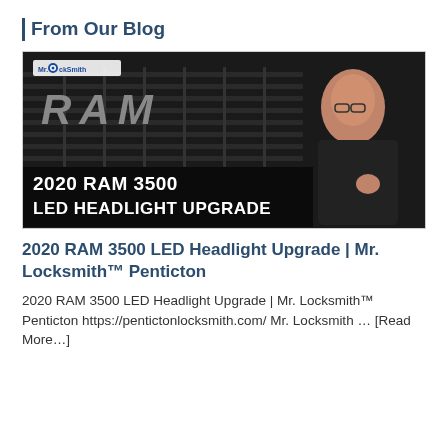From Our Blog
[Figure (photo): Thumbnail image showing a man in a dark shirt standing in front of a RAM truck, with text overlay reading '2020 RAM 3500 LED HEADLIGHT UPGRADE' and a Mr. LockSmith logo badge in the upper left corner.]
2020 RAM 3500 LED Headlight Upgrade | Mr. Locksmith™ Penticton
2020 RAM 3500 LED Headlight Upgrade | Mr. Locksmith™ Penticton https://pentictonlocksmith.com/ Mr. Locksmith … [Read More…]